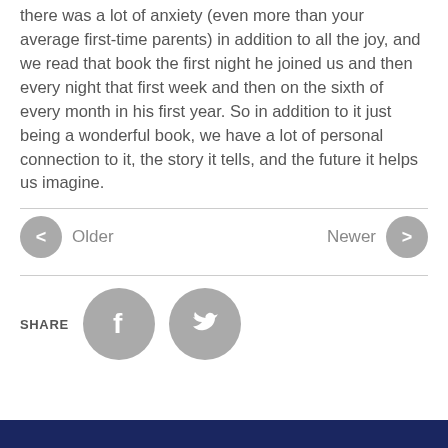there was a lot of anxiety (even more than your average first-time parents) in addition to all the joy, and we read that book the first night he joined us and then every night that first week and then on the sixth of every month in his first year. So in addition to it just being a wonderful book, we have a lot of personal connection to it, the story it tells, and the future it helps us imagine.
[Figure (other): Navigation bar with Older (left arrow circle) and Newer (right arrow circle) buttons separated by horizontal divider lines]
[Figure (other): Share section with SHARE label and Facebook and Twitter circular icon buttons]